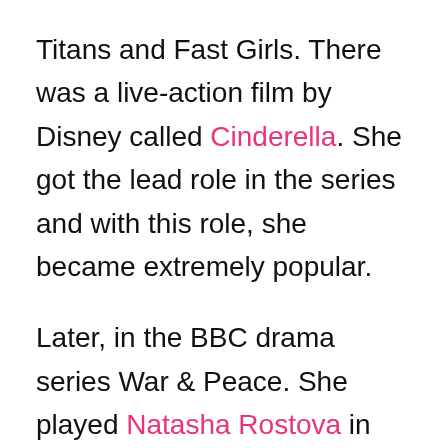Titans and Fast Girls. There was a live-action film by Disney called Cinderella. She got the lead role in the series and with this role, she became extremely popular.
Later, in the BBC drama series War & Peace. She played Natasha Rostova in the series. In the parody Pride and Prejudice and Zombies, she appeared as Elizabeth Bennet. The film got a mixed response.
In 2017, Lily got roles in major films like Baby Driver, Darkest Hour, and The Exception. In 2018, she appeared in the sequel to Mamma Mia!. The